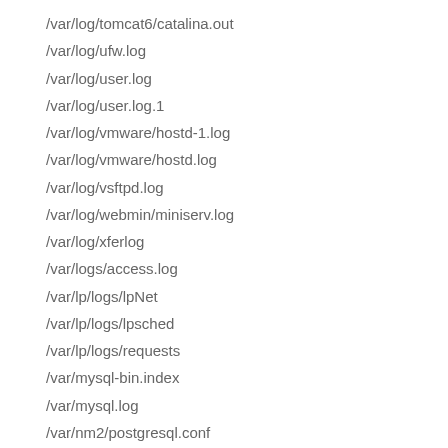/var/log/tomcat6/catalina.out
/var/log/ufw.log
/var/log/user.log
/var/log/user.log.1
/var/log/vmware/hostd-1.log
/var/log/vmware/hostd.log
/var/log/vsftpd.log
/var/log/webmin/miniserv.log
/var/log/xferlog
/var/logs/access.log
/var/lp/logs/lpNet
/var/lp/logs/lpsched
/var/lp/logs/requests
/var/mysql-bin.index
/var/mysql.log
/var/nm2/postgresql.conf
/var/postgresql/db/postgresql.conf
/var/postgresql/db/postgresql.add